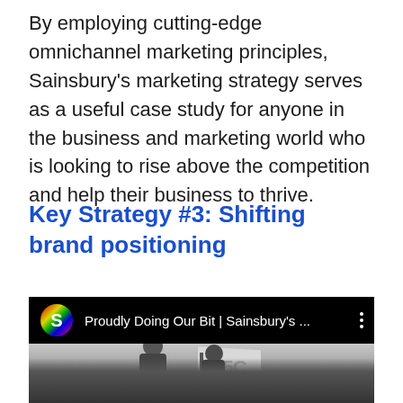By employing cutting-edge omnichannel marketing principles, Sainsbury's marketing strategy serves as a useful case study for anyone in the business and marketing world who is looking to rise above the competition and help their business to thrive.
Key Strategy #3: Shifting brand positioning
[Figure (screenshot): YouTube video thumbnail showing 'Proudly Doing Our Bit | Sainsbury's ...' with a black-and-white image of a person holding a flag with '150' text]